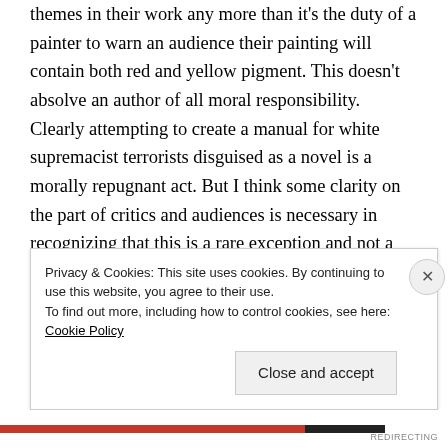themes in their work any more than it's the duty of a painter to warn an audience their painting will contain both red and yellow pigment. This doesn't absolve an author of all moral responsibility. Clearly attempting to create a manual for white supremacist terrorists disguised as a novel is a morally repugnant act. But I think some clarity on the part of critics and audiences is necessary in recognizing that this is a rare exception and not a universal rule. Even art that takes on morally repugnant themes, such as Ender's Game by Orson Scott Card or The Horror at Red Hook by H.P. Lovecraft don't harm the audience directly. Nobody says, "I'm
Privacy & Cookies: This site uses cookies. By continuing to use this website, you agree to their use.
To find out more, including how to control cookies, see here: Cookie Policy
Close and accept